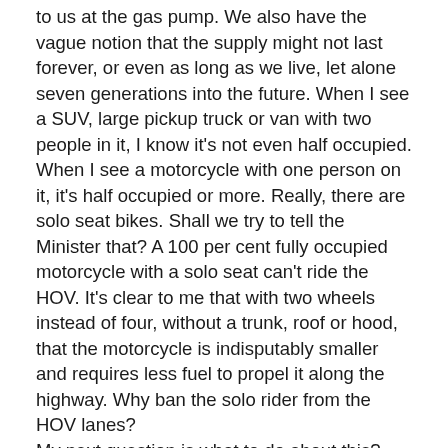to us at the gas pump. We also have the vague notion that the supply might not last forever, or even as long as we live, let alone seven generations into the future. When I see a SUV, large pickup truck or van with two people in it, I know it's not even half occupied. When I see a motorcycle with one person on it, it's half occupied or more. Really, there are solo seat bikes. Shall we try to tell the Minister that? A 100 per cent fully occupied motorcycle with a solo seat can't ride the HOV. It's clear to me that with two wheels instead of four, without a trunk, roof or hood, that the motorcycle is indisputably smaller and requires less fuel to propel it along the highway. Why ban the solo rider from the HOV lanes? My next question is what to do about this? And are there enough people who care? We could start an online petition. We could all just individually email the Ministry of Transportation Bob Chiarelli, and bring this to his attention. Perhaps he didn't notice that he was barring half and fully occupied motorcycles from the HOV lanes. Could we reach out to the Canadian Motorcycle for support? What about the